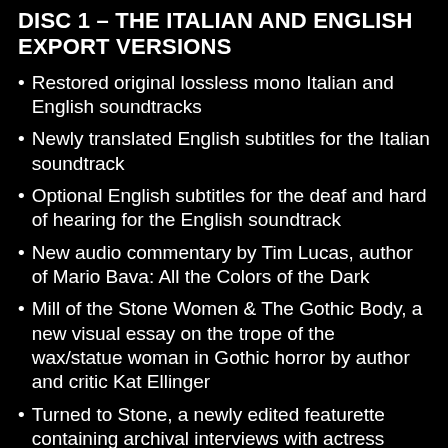DISC 1 – THE ITALIAN AND ENGLISH EXPORT VERSIONS
Restored original lossless mono Italian and English soundtracks
Newly translated English subtitles for the Italian soundtrack
Optional English subtitles for the deaf and hard of hearing for the English soundtrack
New audio commentary by Tim Lucas, author of Mario Bava: All the Colors of the Dark
Mill of the Stone Women & The Gothic Body, a new visual essay on the trope of the wax/statue woman in Gothic horror by author and critic Kat Ellinger
Turned to Stone, a newly edited featurette containing archival interviews with actress Liana